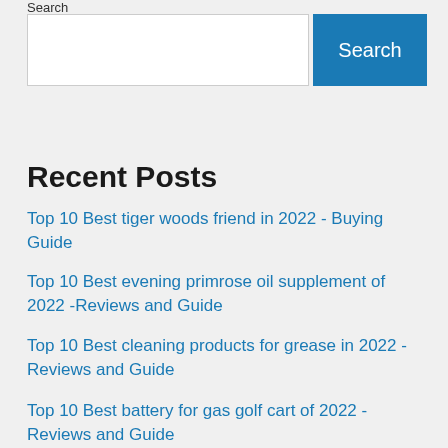Search
[Figure (screenshot): Search input box and Search button]
Recent Posts
Top 10 Best tiger woods friend in 2022 - Buying Guide
Top 10 Best evening primrose oil supplement of 2022 -Reviews and Guide
Top 10 Best cleaning products for grease in 2022 -Reviews and Guide
Top 10 Best battery for gas golf cart of 2022 - Reviews and Guide